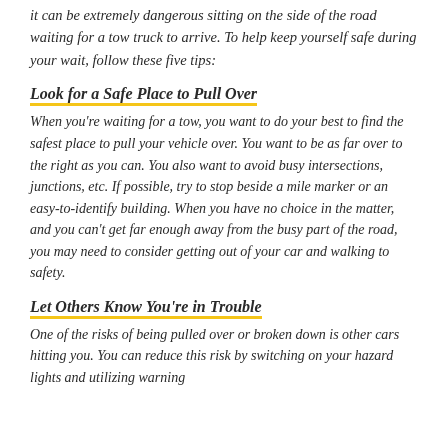It can be extremely dangerous sitting on the side of the road waiting for a tow truck to arrive. To help keep yourself safe during your wait, follow these five tips:
Look for a Safe Place to Pull Over
When you're waiting for a tow, you want to do your best to find the safest place to pull your vehicle over. You want to be as far over to the right as you can. You also want to avoid busy intersections, junctions, etc. If possible, try to stop beside a mile marker or an easy-to-identify building. When you have no choice in the matter, and you can't get far enough away from the busy part of the road, you may need to consider getting out of your car and walking to safety.
Let Others Know You're in Trouble
One of the risks of being pulled over or broken down is other cars hitting you. You can reduce this risk by switching on your hazard lights and utilizing warning